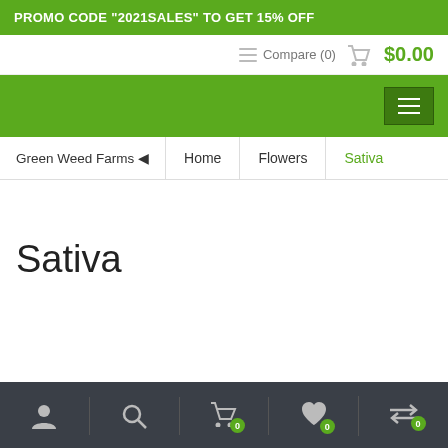PROMO CODE "2021SALES" TO GET 15% OFF
Compare (0)   $0.00
[Figure (screenshot): Green navigation band with hamburger menu button on right]
Green Weed Farms ▲   Home   Flowers   Sativa
Sativa
Footer icons: account, search, cart (0), wishlist (0), compare (0)